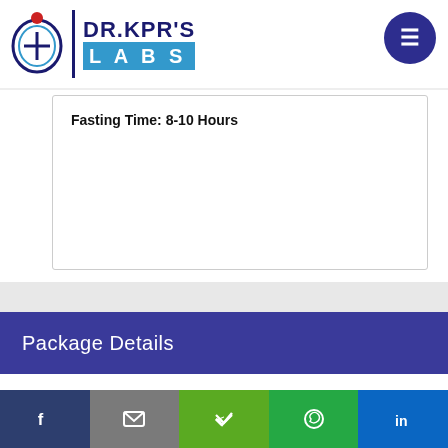[Figure (logo): DR.KPR'S LABS logo with icon and blue text]
Fasting Time: 8-10 Hours
Package Details
With the contemporary lifestyles, alcohol consumption has become a tradition more than just a routine, despite its impact on our wellbeing. Our changing ways of life require a normal screening for diseases that may emerge among individuals who have been expending
Share buttons: Facebook, Email, Share, WhatsApp, LinkedIn